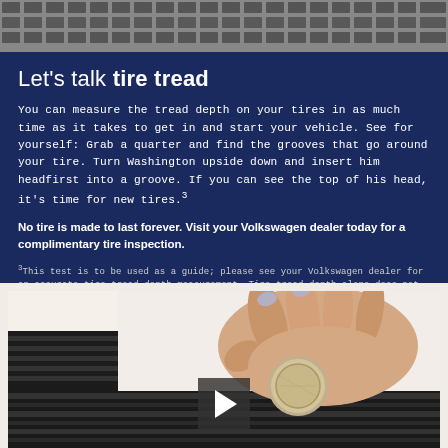[Figure (photo): Close-up of tire tread pattern at top of page]
Let’s talk tire tread
You can measure the tread depth on your tires in as much time as it takes to get in and start your vehicle. See for yourself: Grab a quarter and find the grooves that go around your tire. Turn Washington upside down and insert him headfirst into a groove. If you can see the top of his head, it’s time for new tires.³
No tire is made to last forever. Visit your Volkswagen dealer today for a complimentary tire inspection.
³This test is to be used as a guide; please see your Volkswagen dealer for an accurate tire tread depth measurement. Tire tread depth alone does not indicate overall condition of the tire. See Volkswagen dealer for complete details.
[Figure (photo): Hands inserting a quarter into a tire tread groove to measure tread depth, with a video play button overlay]